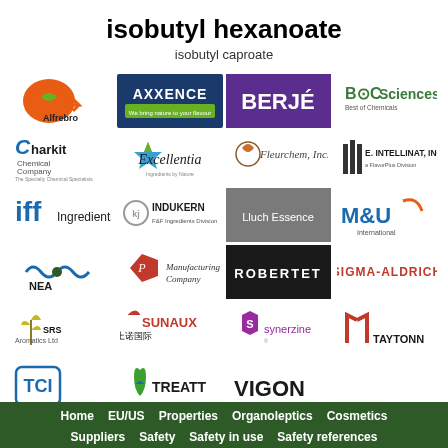isobutyl hexanoate
isobutyl caproate
[Figure (logo): Grid of supplier logos: Alfrebro, Axxence, Berjé, BOC Sciences, Charkit Chemical Company, Excellentia, Fleurchem Inc., E. Intellinat Inc. (a FlavorPlus Division), IFF Ingredients, Indukern F&F Ingredients Division, Lluch Essence, M&U International, NEA, Penta Manufacturing Company, Robertet, Sigma-Aldrich, SRS Aromatics Ltd, Sunaux, Synerzine, Taytonn, TCI, Treatt, Vigon]
Home | EU/US | Properties | Organoleptics | Cosmetics | Suppliers | Safety | Safety in use | Safety references